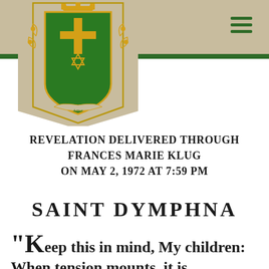[Figure (logo): Green heraldic shield crest with gold cross, star of David, crown, and floral decorations, on beige banner/ribbon background]
REVELATION DELIVERED THROUGH FRANCES MARIE KLUG ON MAY 2, 1972 AT 7:59 PM
SAINT DYMPHNA
“Keep this in mind, My children:  When tension mounts, it is